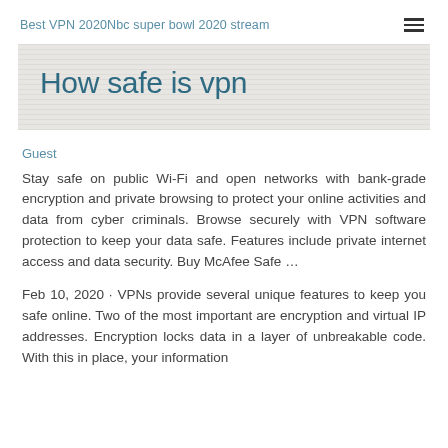Best VPN 2020Nbc super bowl 2020 stream
How safe is vpn
Guest
Stay safe on public Wi-Fi and open networks with bank-grade encryption and private browsing to protect your online activities and data from cyber criminals. Browse securely with VPN software protection to keep your data safe. Features include private internet access and data security. Buy McAfee Safe …
Feb 10, 2020 · VPNs provide several unique features to keep you safe online. Two of the most important are encryption and virtual IP addresses. Encryption locks data in a layer of unbreakable code. With this in place, your information